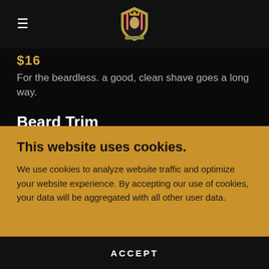≡  [logo]
$16
For the beardless. a good, clean shave goes a long way.
Beard Trim
This website uses cookies.
We use cookies to analyze website traffic and optimize your website experience. By accepting our use of cookies, your data will be aggregated with all other user data.
ACCEPT